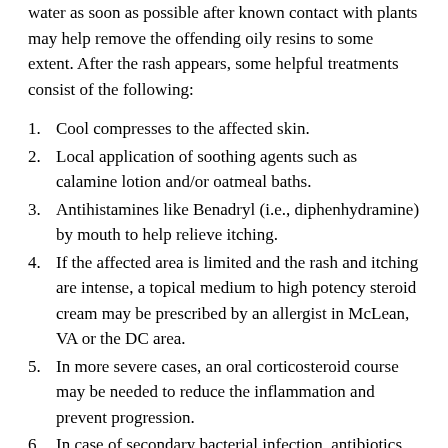water as soon as possible after known contact with plants may help remove the offending oily resins to some extent. After the rash appears, some helpful treatments consist of the following:
1. Cool compresses to the affected skin.
2. Local application of soothing agents such as calamine lotion and/or oatmeal baths.
3. Antihistamines like Benadryl (i.e., diphenhydramine) by mouth to help relieve itching.
4. If the affected area is limited and the rash and itching are intense, a topical medium to high potency steroid cream may be prescribed by an allergist in McLean, VA or the DC area.
5. In more severe cases, an oral corticosteroid course may be needed to reduce the inflammation and prevent progression.
6. In case of secondary bacterial infection, antibiotics are sometimes required.